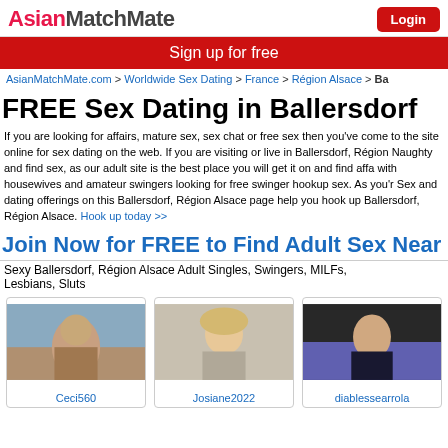AsianMatchMate | Login
Sign up for free
AsianMatchMate.com > Worldwide Sex Dating > France > Région Alsace > Ba
FREE Sex Dating in Ballersdorf
If you are looking for affairs, mature sex, sex chat or free sex then you've come to the site online for sex dating on the web. If you are visiting or live in Ballersdorf, Région Naughty and find sex, as our adult site is the best place you will get it on and find affa with housewives and amateur swingers looking for free swinger hookup sex. As you'r Sex and dating offerings on this Ballersdorf, Région Alsace page help you hook up Ballersdorf, Région Alsace. Hook up today >>
Join Now for FREE to Find Adult Sex Near Ba
Sexy Ballersdorf, Région Alsace Adult Singles, Swingers, MILFs, Lesbians, Sluts
[Figure (photo): Profile photo of Ceci560 - woman in front of Eiffel Tower]
[Figure (photo): Profile photo of Josiane2022 - blonde woman]
[Figure (photo): Profile photo of diablessearrola - woman in dark outfit]